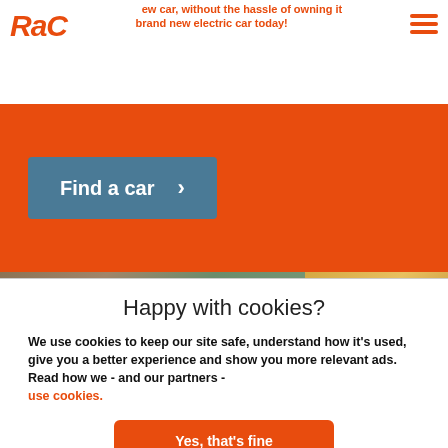RAC — new car, without the hassle of owning it. brand new electric car today!
[Figure (screenshot): RAC website orange banner with 'Find a car' button in teal/blue, followed by a photo strip of street scenes]
Happy with cookies?
We use cookies to keep our site safe, understand how it's used, give you a better experience and show you more relevant ads. Read how we - and our partners - use cookies.
Yes, that's fine
No, manage cookies